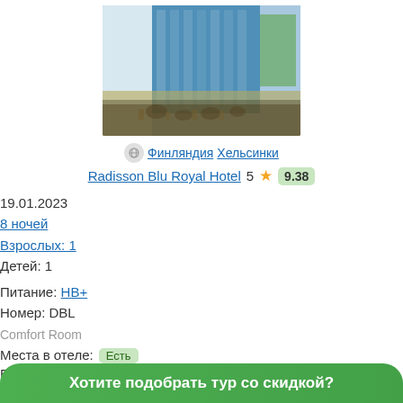[Figure (photo): Hotel exterior photo - glass modern building with outdoor terrace and people]
Финляндия  Хельсинки
Radisson Blu Royal Hotel  5 ★ 9.38
19.01.2023
8 ночей
Взрослых: 1
Детей: 1
Питание: НВ+
Номер: DBL
Comfort Room
Места в отеле: Есть
Билеты туда: Есть
Билеты обратно: Есть
Алех
Хотите подобрать тур со скидкой?